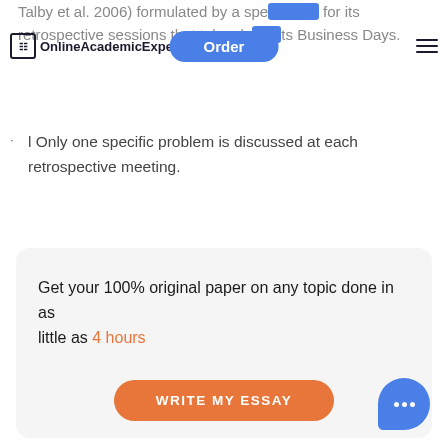OnlineAcademicExperts | Order
Talby et al. 2006) formulated by a specific ... for its retrospective sessions that take pla... ...ts Business Days.
l Only one specific problem is discussed at each retrospective meeting.
Get your 100% original paper on any topic done in as little as 4 hours
WRITE MY ESSAY